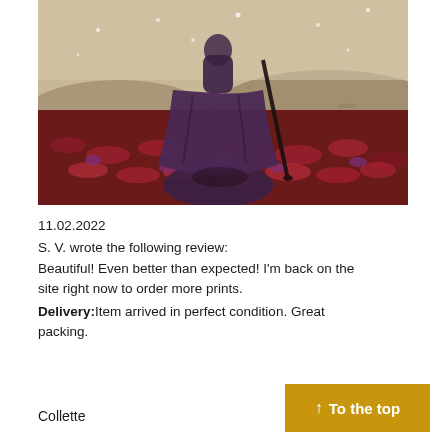[Figure (illustration): A person in a long dark purple/violet dress holding a cane or staff, standing in a field of red and pink flowers with a muted landscape background. The figure is seen from behind.]
11.02.2022
S. V. wrote the following review:
Beautiful! Even better than expected! I'm back on the site right now to order more prints.
Delivery:Item arrived in perfect condition. Great packing.
Collette